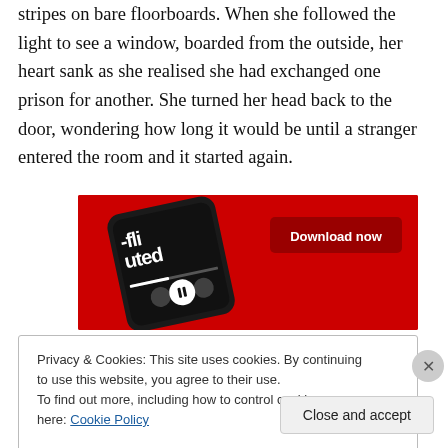stripes on bare floorboards. When she followed the light to see a window, boarded from the outside, her heart sank as she realised she had exchanged one prison for another. She turned her head back to the door, wondering how long it would be until a stranger entered the room and it started again.
[Figure (screenshot): Advertisement banner with red background showing a smartphone with a podcast app interface and 'Download now' button]
Privacy & Cookies: This site uses cookies. By continuing to use this website, you agree to their use.
To find out more, including how to control cookies, see here: Cookie Policy
Close and accept